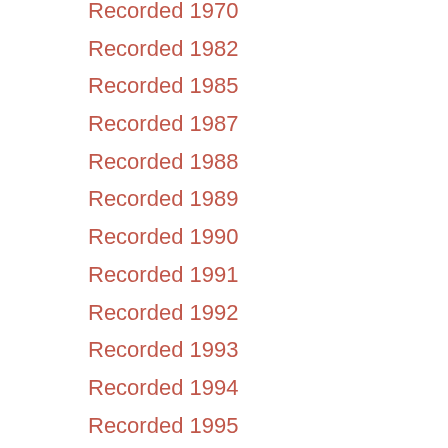Recorded 1970
Recorded 1982
Recorded 1985
Recorded 1987
Recorded 1988
Recorded 1989
Recorded 1990
Recorded 1991
Recorded 1992
Recorded 1993
Recorded 1994
Recorded 1995
Recorded 1996
Recorded 1997
Recorded 2007